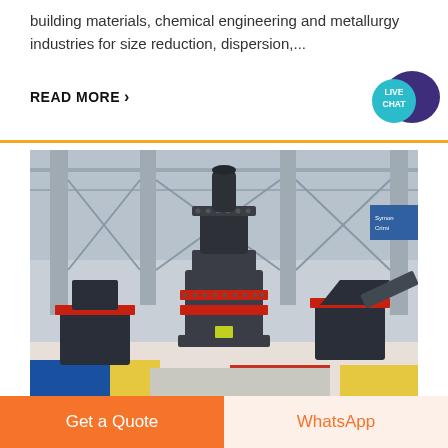building materials, chemical engineering and metallurgy industries for size reduction, dispersion,...
READ MORE ›
[Figure (photo): Industrial manufacturing facility showing a large vertical roller mill or grinding machine in dark grey/black with red accent rings, positioned in a large warehouse with steel roof structure, other machinery visible in background, colorful floor markings (blue, yellow, red).]
Get a Quote
WhatsApp